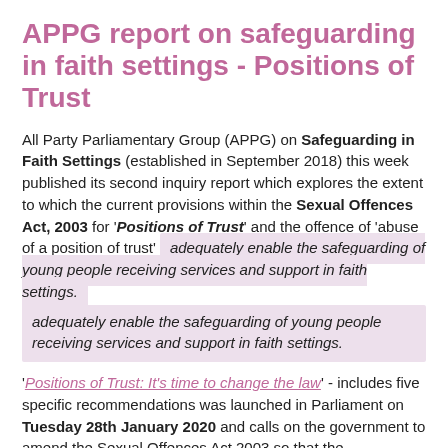APPG report on safeguarding in faith settings - Positions of Trust
All Party Parliamentary Group (APPG) on Safeguarding in Faith Settings (established in September 2018) this week published its second inquiry report which explores the extent to which the current provisions within the Sexual Offences Act, 2003 for 'Positions of Trust' and the offence of 'abuse of a position of trust' adequately enable the safeguarding of young people receiving services and support in faith settings.
'Positions of Trust: It's time to change the law' - includes five specific recommendations was launched in Parliament on Tuesday 28th January 2020 and calls on the government to amend the Sexual Offences Act 2003 so that the